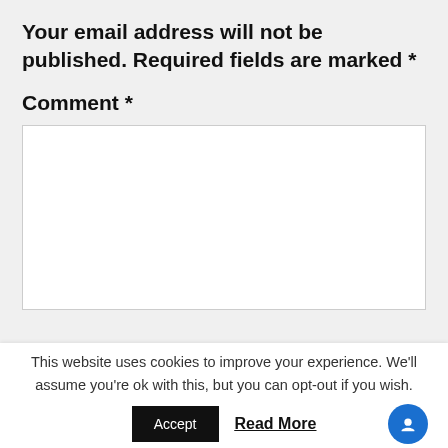Your email address will not be published. Required fields are marked *
Comment *
[Figure (other): Empty comment text area input box with white background and light gray border]
This website uses cookies to improve your experience. We'll assume you're ok with this, but you can opt-out if you wish.
Accept   Read More